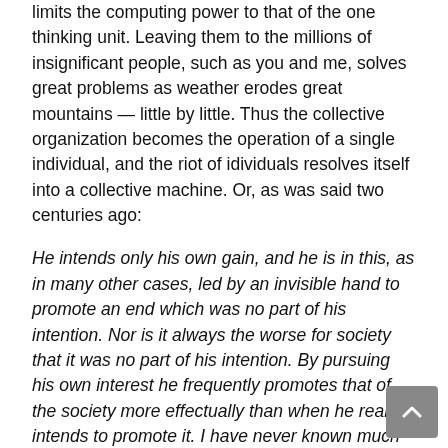limits the computing power to that of the one thinking unit. Leaving them to the millions of insignificant people, such as you and me, solves great problems as weather erodes great mountains — little by little. Thus the collective organization becomes the operation of a single individual, and the riot of idividuals resolves itself into a collective machine. Or, as was said two centuries ago:
He intends only his own gain, and he is in this, as in many other cases, led by an invisible hand to promote an end which was no part of his intention. Nor is it always the worse for society that it was no part of his intention. By pursuing his own interest he frequently promotes that of the society more effectually than when he really intends to promote it. I have never known much good done by those who affected to trade for the public good.